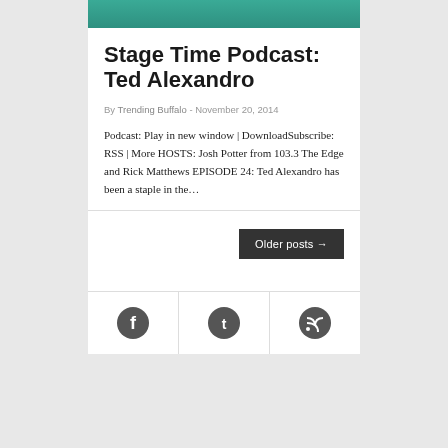[Figure (photo): Top portion of a photo showing a person in a teal/green shirt]
Stage Time Podcast: Ted Alexandro
By Trending Buffalo - November 20, 2014
Podcast: Play in new window | DownloadSubscribe: RSS | More HOSTS: Josh Potter from 103.3 The Edge and Rick Matthews EPISODE 24: Ted Alexandro has been a staple in the…
Older posts →
[Figure (logo): Facebook icon circle]
[Figure (logo): Twitter icon circle]
[Figure (logo): RSS feed icon circle]